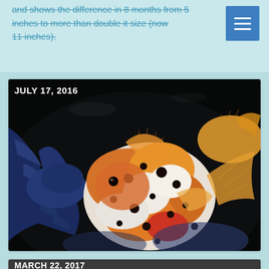and shows the difference in 8 months from 5 inches to more than double it size (now 11 inches).
[Figure (photo): Close-up underwater photo of fancy goldfish taken July 17, 2016. A calico/shubunkin style goldfish with orange, white, black spotted coloration is prominent in the center, with blue-finned fish visible on the left side, dark background.]
[Figure (photo): Underwater photo of goldfish taken March 22, 2017. Shows a large fish with dark blue/black and orange-brown coloration near the bottom of the frame, gray/dark background.]